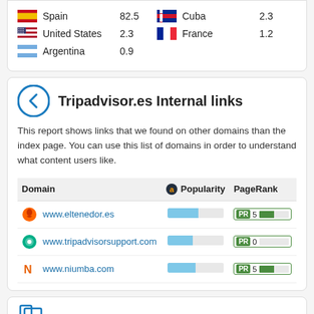| Country | Value | Country | Value |
| --- | --- | --- | --- |
| Spain | 82.5 | Cuba | 2.3 |
| United States | 2.3 | France | 1.2 |
| Argentina | 0.9 |  |  |
Tripadvisor.es Internal links
This report shows links that we found on other domains than the index page. You can use this list of domains in order to understand what content users like.
| Domain | Popularity | PageRank |
| --- | --- | --- |
| www.eltenedor.es | (bar) | PR 5 |
| www.tripadvisorsupport.com | (bar) | PR 0 |
| www.niumba.com | (bar) | PR 5 |
Website categories